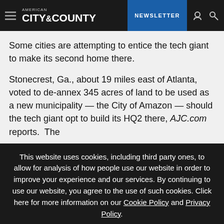AMERICAN CITY & COUNTY | NEWSLETTER
Some cities are attempting to entice the tech giant to make its second home there.
Stonecrest, Ga., about 19 miles east of Atlanta, voted to de-annex 345 acres of land to be used as a new municipality — the City of Amazon — should the tech giant opt to build its HQ2 there, AJC.com reports. The
This website uses cookies, including third party ones, to allow for analysis of how people use our website in order to improve your experience and our services. By continuing to use our website, you agree to the use of such cookies. Click here for more information on our Cookie Policy and Privacy Policy.
Accept and Close ✕
Your browser settings do not allow cross-site tracking for advertising. Click on this page to allow AdRoll to use cross-site tracking to tailor ads to you. Learn more or opt out of this AdRoll tracking by clicking here. This message only appears once.